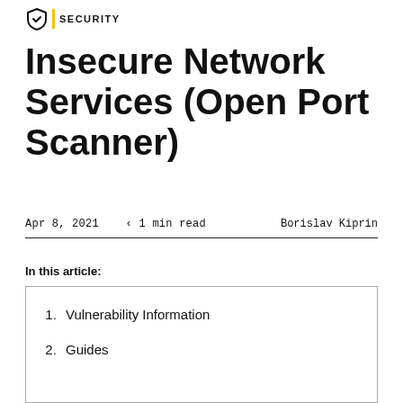SECURITY
Insecure Network Services (Open Port Scanner)
Apr 8, 2021    < 1 min read    Borislav Kiprin
In this article:
1. Vulnerability Information
2. Guides